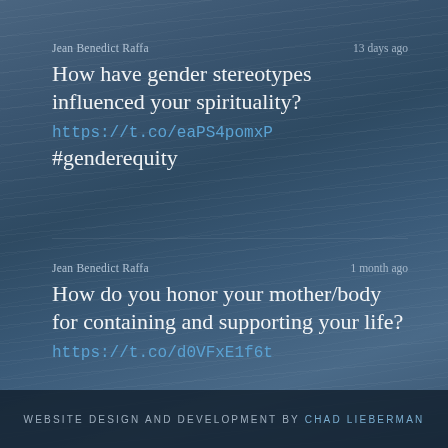Jean Benedict Raffa   13 days ago
How have gender stereotypes influenced your spirituality? https://t.co/eaPS4pomxP #genderequity
Jean Benedict Raffa   1 month ago
How do you honor your mother/body for containing and supporting your life? https://t.co/d0VFxE1f6t
WEBSITE DESIGN AND DEVELOPMENT BY CHAD LIEBERMAN